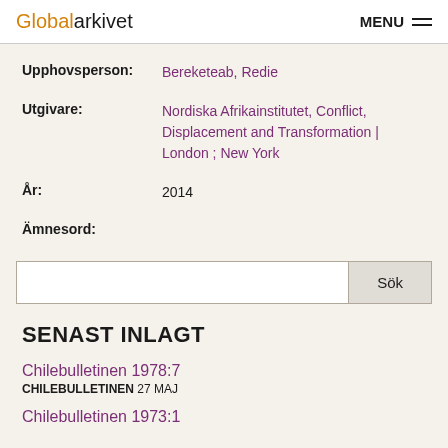Globalarkivet MENU
Upphovsperson: Bereketeab, Redie
Utgivare: Nordiska Afrikainstitutet, Conflict, Displacement and Transformation | London ; New York
År: 2014
Ämnesord:
SENAST INLAGT
Chilebulletinen 1978:7
CHILEBULLETINEN 27 MAJ
Chilebulletinen 1973:1